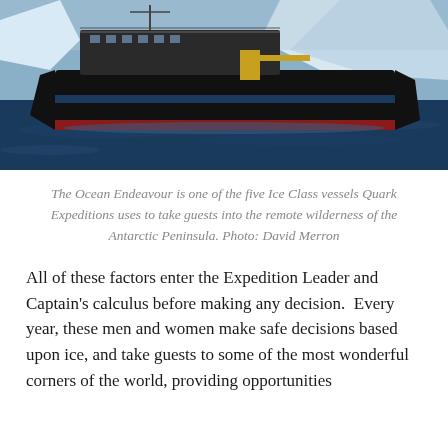[Figure (photo): Photograph of the Ocean Endeavour ship, a large black-hulled vessel sailing in icy Antarctic waters with large icebergs in the background. Blue sea and white ice visible.]
The Ocean Endeavour is one of the five Ice Class vessels Quark Expeditions uses to take guests into the remote wilderness of the Antarctic Peninsula. Photo: David Merron
All of these factors enter the Expedition Leader and Captain's calculus before making any decision.  Every year, these men and women make safe decisions based upon ice, and take guests to some of the most wonderful corners of the world, providing opportunities